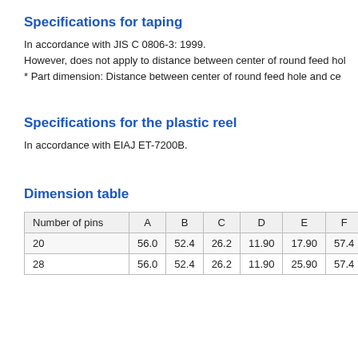Specifications for taping
In accordance with JIS C 0806-3: 1999.
However, does not apply to distance between center of round feed hole…
* Part dimension: Distance between center of round feed hole and cen…
Specifications for the plastic reel
In accordance with EIAJ ET-7200B.
Dimension table
| Number of pins | A | B | C | D | E | F |
| --- | --- | --- | --- | --- | --- | --- |
| 20 | 56.0 | 52.4 | 26.2 | 11.90 | 17.90 | 57.4 |
| 28 | 56.0 | 52.4 | 26.2 | 11.90 | 25.90 | 57.4 |